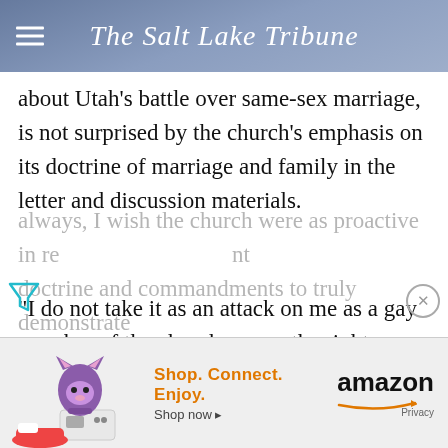The Salt Lake Tribune
about Utah's battle over same-sex marriage, is not surprised by the church's emphasis on its doctrine of marriage and family in the letter and discussion materials.
"I do not take it as an attack on me as a gay member of the church nor on the rights appropriately affirmed by the Supreme Court," Wilcox writes in an email. "That said, and as
always, I wish the church were as proactive in re... in doctrine and commandments to truly demonstrate
[Figure (screenshot): Amazon advertisement banner: cartoon fox with products, text 'Shop. Connect. Enjoy. Shop now' and Amazon logo with Privacy link]